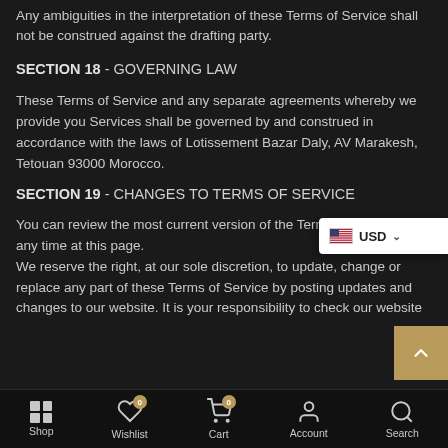Any ambiguities in the interpretation of these Terms of Service shall not be construed against the drafting party.
SECTION 18 - GOVERNING LAW
These Terms of Service and any separate agreements whereby we provide you Services shall be governed by and construed in accordance with the laws of Lotissement Bazar Daly, AV Marakesh, Tetouan 93000 Morocco.
SECTION 19 - CHANGES TO TERMS OF SERVICE
You can review the most current version of the Terms of Service at any time at this page.
We reserve the right, at our sole discretion, to update, change or replace any part of these Terms of Service by posting updates and changes to our website. It is your responsibility to check our website
Shop | Wishlist | Cart | Account | Search